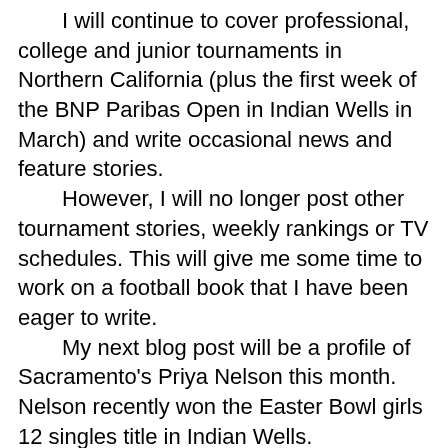I will continue to cover professional, college and junior tournaments in Northern California (plus the first week of the BNP Paribas Open in Indian Wells in March) and write occasional news and feature stories.
However, I will no longer post other tournament stories, weekly rankings or TV schedules. This will give me some time to work on a football book that I have been eager to write.
My next blog post will be a profile of Sacramento's Priya Nelson this month. Nelson recently won the Easter Bowl girls 12 singles title in Indian Wells.
Here's my tournament coverage schedule for the rest of the year:
May 6-7 -- Late rounds of Rio Del Oro Junior Championships, Rio Del Oro Racquet Club, Sacramento.
June 17-19 -- Late rounds of NorCal Boys 18 &16 Junior Sectional Championships, Natomas Racquet Club, Sacramento.
June 17-19 -- Late rounds of NorCal 14s Junior Sectional Championships, Arden Hills Club & Spa, Sacramento.
July 17-23 -- $60,000 women's professional tournament, Eve Zimmerman Tennis Center, University of the Pacific,